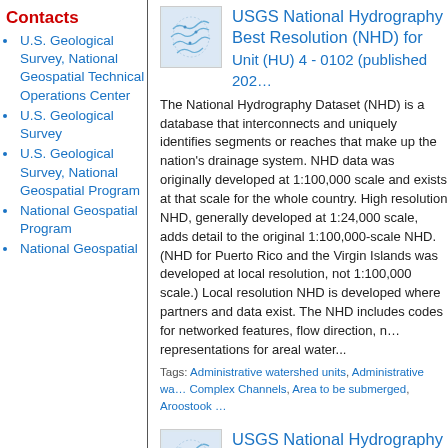Contacts
U.S. Geological Survey, National Geospatial Technical Operations Center
U.S. Geological Survey
U.S. Geological Survey, National Geospatial Program
National Geospatial Program
National Geospatial
USGS National Hydrography Best Resolution (NHD) for Hydrologic Unit (HU) 4 - 0102 (published 202…
The National Hydrography Dataset (NHD) is a database that interconnects and uniquely identifies segments or reaches that make up the nation's drainage system. NHD data was originally developed at 1:100,000 scale and exists at that scale for the whole country. High resolution NHD, generally developed at 1:24,000 scale, adds detail to the original 1:100,000-scale NHD. (NHD for Puerto Rico and the Virgin Islands was developed at local resolution, not 1:100,000 scale.) Local resolution NHD is developed where partners and data exist. The NHD includes codes for networked features, flow direction, names, and representations for areal water...
Tags: Administrative watershed units, Administrative wa… Complex Channels, Area to be submerged, Aroostook …
USGS National Hydrography Best Resolution (NHD) for…